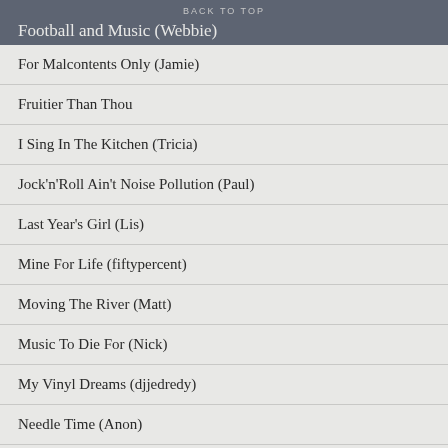BACK TO TOP
Football and Music (Webbie)
For Malcontents Only (Jamie)
Fruitier Than Thou
I Sing In The Kitchen (Tricia)
Jock'n'Roll Ain't Noise Pollution (Paul)
Last Year's Girl (Lis)
Mine For Life (fiftypercent)
Moving The River (Matt)
Music To Die For (Nick)
My Vinyl Dreams (djjedredy)
Needle Time (Anon)
Planet Mondo (Mondo)
Spools Paradise (Scott)